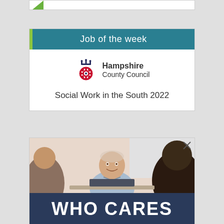[Figure (logo): Partial banner with green triangle logo at top of page]
Job of the week
[Figure (logo): Hampshire County Council logo with crown and rose emblem]
Social Work in the South 2022
[Figure (photo): Advertisement photo showing two people in a meeting/interview setting with an older man smiling, and text WHO CARES at the bottom]